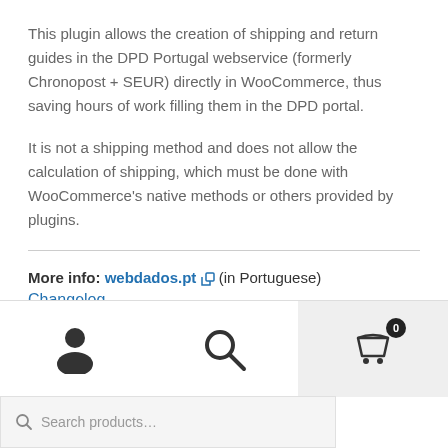This plugin allows the creation of shipping and return guides in the DPD Portugal webservice (formerly Chronopost + SEUR) directly in WooCommerce, thus saving hours of work filling them in the DPD portal.
It is not a shipping method and does not allow the calculation of shipping, which must be done with WooCommerce's native methods or others provided by plugins.
More info: webdados.pt (in Portuguese)
Changelog
[Figure (screenshot): Website bottom navigation bar with person icon, search icon, and cart icon with badge showing 0, plus a search products input field]